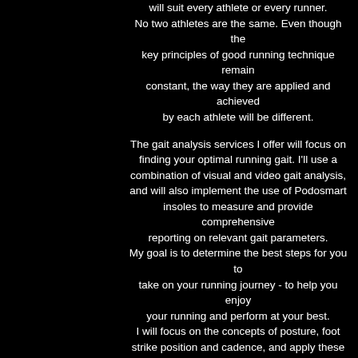will suit every athlete or every runner. No two athletes are the same. Even though the key principles of good running technique remain constant, the way they are applied and achieved by each athlete will be different.

The gait analysis services I offer will focus on finding your optimal running gait. I'll use a combination of visual and video gait analysis, and will also implement the use of Podosmart insoles to measure and provide comprehensive reporting on relevant gait parameters. My goal is to determine the best steps for you to take on your running journey - to help you enjoy your running and perform at your best. I will focus on the concepts of posture, foot strike position and cadence, and apply these to your running gait as applicable by using drills and cues. I will also explore and discuss your training, injuries and footwear choices and make recommendations as necessary.